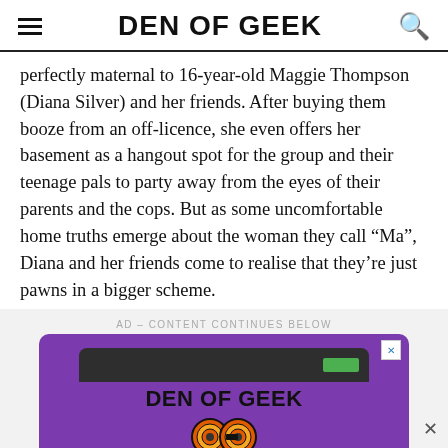DEN OF GEEK
perfectly maternal to 16-year-old Maggie Thompson (Diana Silver) and her friends. After buying them booze from an off-licence, she even offers her basement as a hangout spot for the group and their teenage pals to party away from the eyes of their parents and the cops. But as some uncomfortable home truths emerge about the woman they call “Ma”, Diana and her friends come to realise that they’re just pawns in a bigger scheme.
AD – CONTENT CONTINUES BELOW
[Figure (screenshot): Den of Geek advertisement banner showing a stylized phone with the Den of Geek logo and cartoon glasses on a purple background]